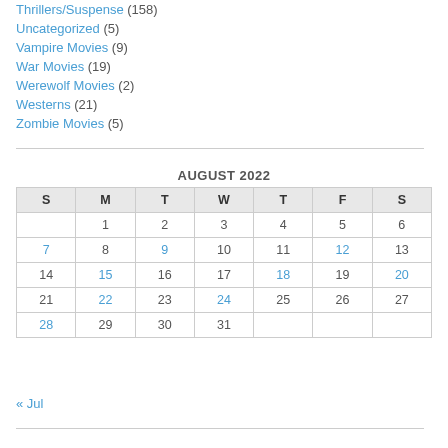Thrillers/Suspense (158)
Uncategorized (5)
Vampire Movies (9)
War Movies (19)
Werewolf Movies (2)
Westerns (21)
Zombie Movies (5)
| S | M | T | W | T | F | S |
| --- | --- | --- | --- | --- | --- | --- |
|  | 1 | 2 | 3 | 4 | 5 | 6 |
| 7 | 8 | 9 | 10 | 11 | 12 | 13 |
| 14 | 15 | 16 | 17 | 18 | 19 | 20 |
| 21 | 22 | 23 | 24 | 25 | 26 | 27 |
| 28 | 29 | 30 | 31 |  |  |  |
« Jul